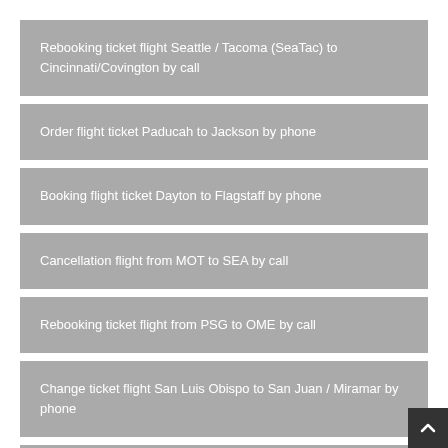Rebooking ticket flight Seattle / Tacoma (SeaTac) to Cincinnati/Covington by call
Order flight ticket Paducah to Jackson by phone
Booking flight ticket Dayton to Flagstaff by phone
Cancellation flight from MOT to SEA by call
Rebooking ticket flight from PSG to OME by call
Change ticket flight San Luis Obispo to San Juan / Miramar by phone
Reservation flight from ART to STS by phone